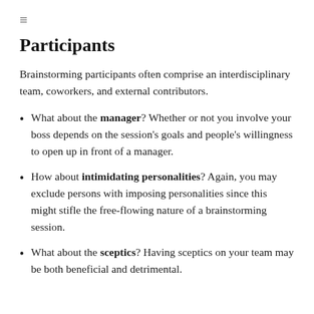≡
Participants
Brainstorming participants often comprise an interdisciplinary team, coworkers, and external contributors.
What about the manager? Whether or not you involve your boss depends on the session's goals and people's willingness to open up in front of a manager.
How about intimidating personalities? Again, you may exclude persons with imposing personalities since this might stifle the free-flowing nature of a brainstorming session.
What about the sceptics? Having sceptics on your team may be both beneficial and detrimental.